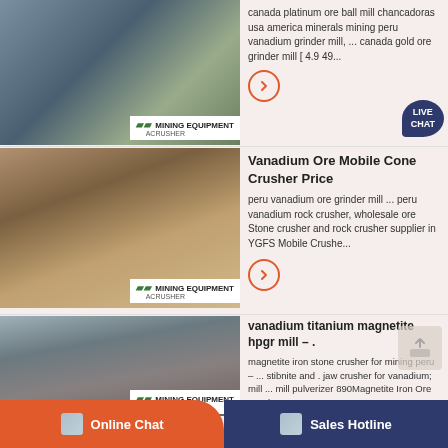[Figure (photo): Mining equipment / cone crusher machine outdoors with MINING EQUIPMENT ACRUSHER badge]
canada platinum ore ball mill chancadoras usa america minerals mining peru vanadium grinder mill, ... canada gold ore grinder mill [ 4.9  49...
[Figure (photo): Mining equipment site with conveyor belts and stockpiles with MINING EQUIPMENT ACRUSHER badge]
Vanadium Ore Mobile Cone Crusher Price
peru vanadium ore grinder mill ... peru vanadium rock crusher, wholesale ore Stone crusher and rock crusher supplier in YGFS Mobile Crushe...
[Figure (photo): Large mining conveyor/crane structure at a mining site with MINING EQUIPMENT ACRUSHER badge]
vanadium titanium magnetite hpgr mill – .
magnetite iron stone crusher for mining peru – ... stibnite and . jaw crusher for vanadium; mill ... mill pulverizer 890Magnetite Iron Ore Crush...
Online Chat
Sales Hotline